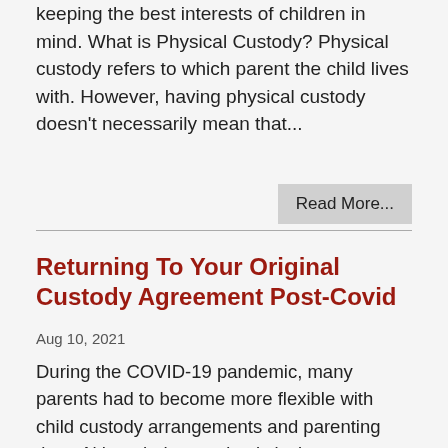keeping the best interests of children in mind. What is Physical Custody? Physical custody refers to which parent the child lives with. However, having physical custody doesn't necessarily mean that...
Read More...
Returning To Your Original Custody Agreement Post-Covid
Aug 10, 2021
During the COVID-19 pandemic, many parents had to become more flexible with child custody arrangements and parenting time. Although the pandemic isn't over, courts are open for business, children are returning to school, and parents are getting back to their regular work schedules and locations. The family law attorneys at Thomas, Conrad & Conrad help parents and children work out custody agreements that are fair for